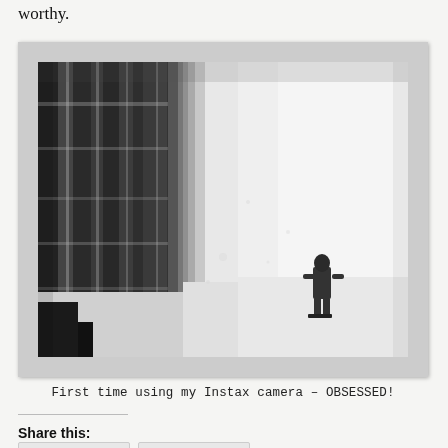worthy.
[Figure (photo): Black and white Instax instant camera photo showing a person standing in a snowy landscape with snow-covered trees in the background, fading into a bright white misty background.]
First time using my Instax camera – OBSESSED!
Share this: